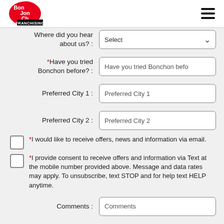[Figure (logo): Bonchon Franchising logo — red blob shape with white text 'Bon Jon Ch' and black 'FRANCHISING' banner]
Where did you hear about us? :
Select (dropdown)
*Have you tried Bonchon before? :
Have you tried Bonchon befo (input field)
Preferred City 1 :
Preferred City 1 (input field)
Preferred City 2 :
Preferred City 2 (input field)
*I would like to receive offers, news and information via email.
*I provide consent to receive offers and information via Text at the mobile number provided above. Message and data rates may apply. To unsubscribe, text STOP and for help text HELP anytime.
Comments :
Comments (input field)